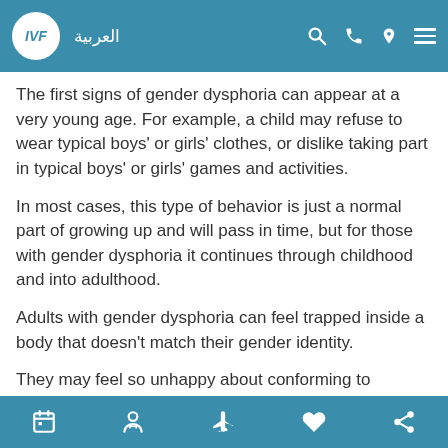IVF | العربية
The first signs of gender dysphoria can appear at a very young age. For example, a child may refuse to wear typical boys' or girls' clothes, or dislike taking part in typical boys' or girls' games and activities.
In most cases, this type of behavior is just a normal part of growing up and will pass in time, but for those with gender dysphoria it continues through childhood and into adulthood.
Adults with gender dysphoria can feel trapped inside a body that doesn't match their gender identity.
They may feel so unhappy about conforming to societal expectations that they live according to their anatomical sex, rather than the gender they feel themselves to be.
They may also have a strong desire to change or get rid of physical signs of their biological sex, such as facial hair or
[navigation icons: calendar, person, plane, heart, share]